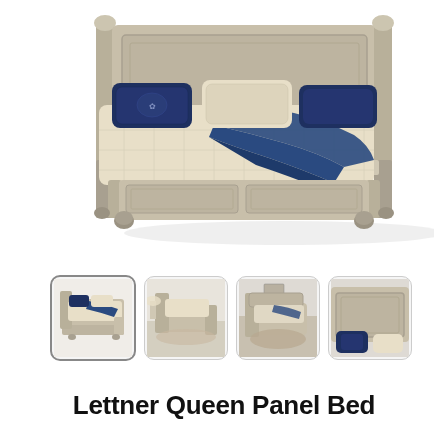[Figure (photo): Main product photo of a Lettner Queen Panel Bed — a gray/beige wooden panel bed with decorative headboard and footboard panels, bun feet, dressed with cream bedding and blue throw blanket, viewed from a three-quarter front angle on white background.]
[Figure (photo): Thumbnail 1 (selected/active): Same angle as main image of the Lettner Queen Panel Bed with blue throw and cream bedding.]
[Figure (photo): Thumbnail 2: Lettner Queen Panel Bed in a styled bedroom setting with lamp and rug, side angle.]
[Figure (photo): Thumbnail 3: Lettner Queen Panel Bed in a styled bedroom setting with artwork on wall, overhead angle.]
[Figure (photo): Thumbnail 4: Close-up detail of the Lettner Queen Panel Bed headboard with pillows.]
Lettner Queen Panel Bed